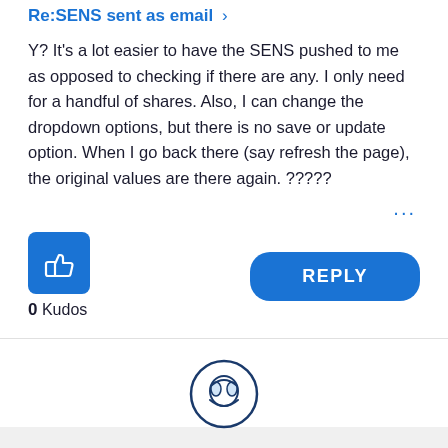Re:SENS sent as email
Y? It's a lot easier to have the SENS pushed to me as opposed to checking if there are any. I only need for a handful of shares. Also, I can change the dropdown options, but there is no save or update option. When I go back there (say refresh the page), the original values are there again. ?????
...
[Figure (illustration): Blue thumbs up kudos button icon]
0 Kudos
REPLY
[Figure (illustration): Partial user avatar icon at bottom of page]